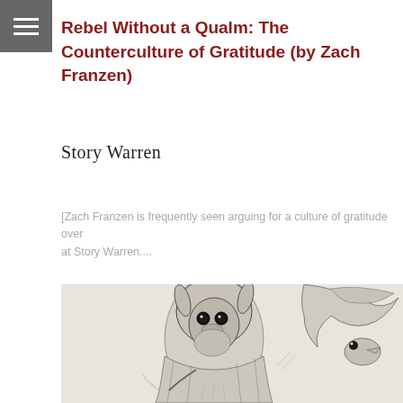Rebel Without a Qualm: The Counterculture of Gratitude (by Zach Franzen)
Story Warren
[Zach Franzen is frequently seen arguing for a culture of gratitude over at Story Warren....
[Figure (illustration): Pencil sketch illustration showing a hooded figure with animal-like features (long ears, round eyes, beard) wearing a cloak, with fantasy creatures including a bird-like creature in the upper right corner. The drawing is done in graphite/pencil style.]